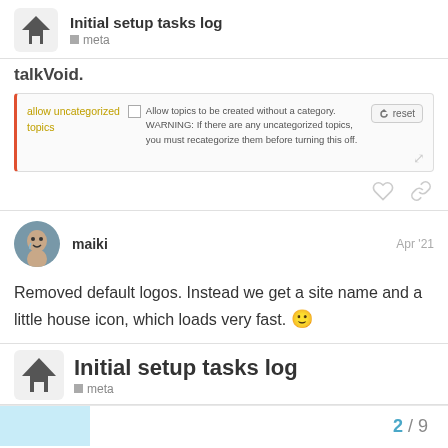Initial setup tasks log — meta
talkVoid.
[Figure (screenshot): Settings UI screenshot showing 'allow uncategorized topics' option with checkbox and reset button. Text reads: Allow topics to be created without a category. WARNING: If there are any uncategorized topics, you must recategorize them before turning this off.]
maiki  Apr '21
Removed default logos. Instead we get a site name and a little house icon, which loads very fast. 🙂
Initial setup tasks log — meta — 2 / 9